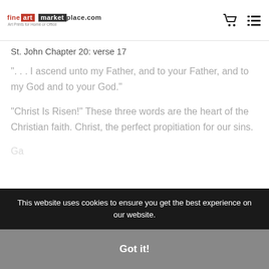fine art marketplace.com — Art Prints for Home or Office
St. John Chapter 20: verse 17
“. . . I ascend unto my Father, and to your Father, and to my God and to your God.”
“Christ Is Risen!” These three words are the heart of the Christian faith. Christ, the perfect propitiation for our sins.
(partially visible bottom text)
This website uses cookies to ensure you get the best experience on our website.
Got it!